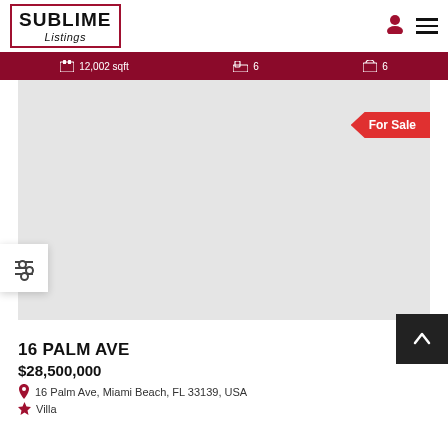SUBLIME Listings
12,002 sqft  6  6
[Figure (photo): Property photo placeholder with light gray background and For Sale badge]
16 PALM AVE
$28,500,000
16 Palm Ave, Miami Beach, FL 33139, USA
Villa